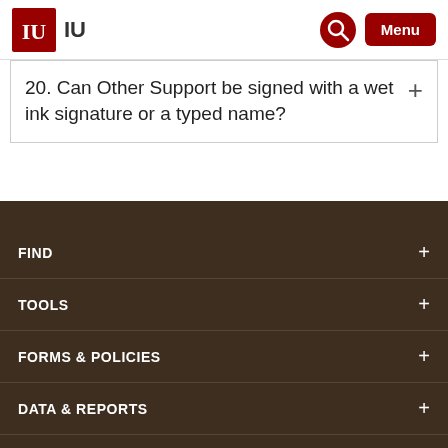IU
20. Can Other Support be signed with a wet ink signature or a typed name?
FIND
TOOLS
FORMS & POLICIES
DATA & REPORTS
AWARD RESOURCES